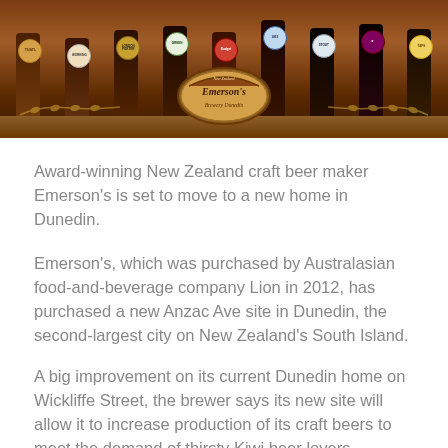[Figure (photo): Photo of multiple beer bottles lined up in a row on a wooden shelf/bar. A round Emerson's Brewery Dunedin logo is prominently displayed in the center foreground. Beer bottle labels include various brands/styles. Wheat decorations flank the logo on either side.]
Award-winning New Zealand craft beer maker Emerson's is set to move to a new home in Dunedin.
Emerson's, which was purchased by Australasian food-and-beverage company Lion in 2012, has purchased a new Anzac Ave site in Dunedin, the second-largest city on New Zealand's South Island.
A big improvement on its current Dunedin home on Wickliffe Street, the brewer says its new site will allow it to increase production of its craft beers to meet the demand of thirsty Kiwi beer lovers.
It's the fourth time that Emerson's has moved since its establishment in 1993.